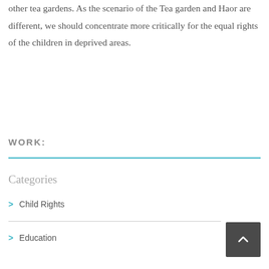other tea gardens. As the scenario of the Tea garden and Haor are different, we should concentrate more critically for the equal rights of the children in deprived areas.
WORK:
Categories
> Child Rights
> Education